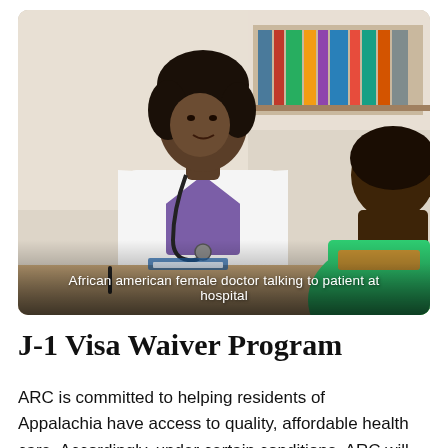[Figure (photo): African American female doctor in white coat with stethoscope talking to a patient across a desk, with bookshelves in the background. Overlay caption reads: 'African american female doctor talking to patient at hospital'.]
African american female doctor talking to patient at hospital
J-1 Visa Waiver Program
ARC is committed to helping residents of Appalachia have access to quality, affordable health care. Accordingly, under certain conditions, ARC will